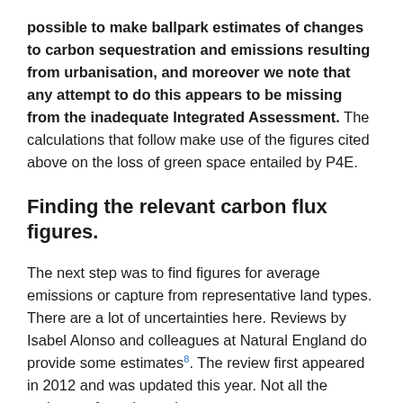possible to make ballpark estimates of changes to carbon sequestration and emissions resulting from urbanisation, and moreover we note that any attempt to do this appears to be missing from the inadequate Integrated Assessment. The calculations that follow make use of the figures cited above on the loss of green space entailed by P4E.
Finding the relevant carbon flux figures.
The next step was to find figures for average emissions or capture from representative land types. There are a lot of uncertainties here. Reviews by Isabel Alonso and colleagues at Natural England do provide some estimates8. The review first appeared in 2012 and was updated this year. Not all the estimates from the early